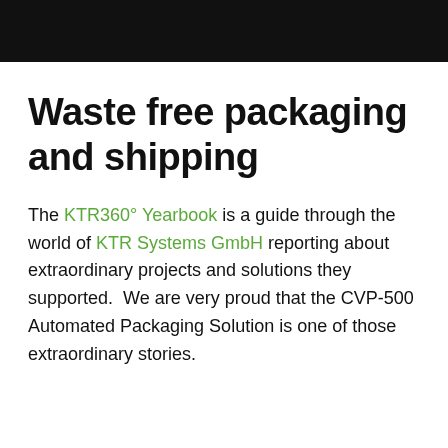Waste free packaging and shipping
The KTR360° Yearbook is a guide through the world of KTR Systems GmbH reporting about extraordinary projects and solutions they supported.  We are very proud that the CVP-500 Automated Packaging Solution is one of those extraordinary stories.